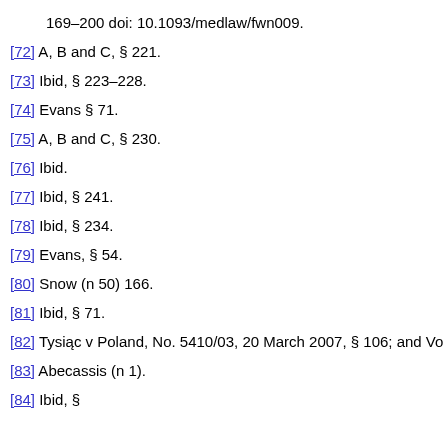169–200 doi: 10.1093/medlaw/fwn009.
[72] A, B and C, § 221.
[73] Ibid, § 223–228.
[74] Evans § 71.
[75] A, B and C, § 230.
[76] Ibid.
[77] Ibid, § 241.
[78] Ibid, § 234.
[79] Evans, § 54.
[80] Snow (n 50) 166.
[81] Ibid, § 71.
[82] Tysiąc v Poland, No. 5410/03, 20 March 2007, § 106; and Vo
[83] Abecassis (n 1).
[84] Ibid, §...